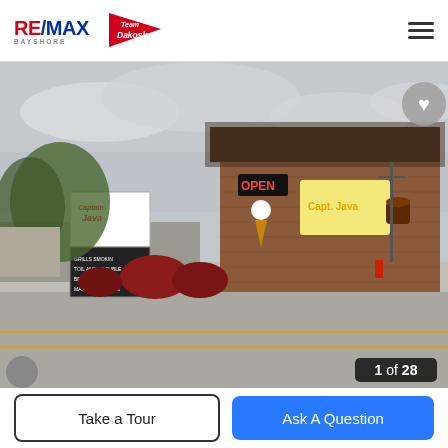RE/MAX BAYSHORE — Team Dakoske
[Figure (photo): Exterior photo of a brick commercial building (Captain Java coffee/ice cream shop) on a street corner with signage, open sign, red shrubs, and overcast sky. Photo counter shows 1 of 28.]
1 of 28
Take a Tour
Ask A Question